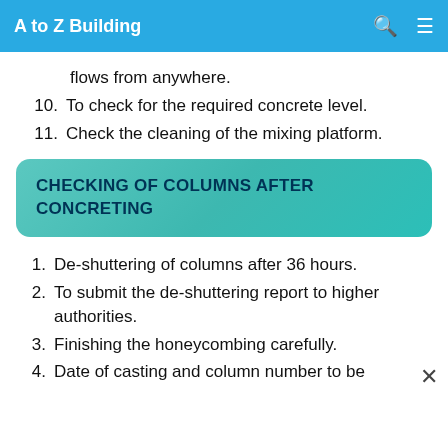A to Z Building
flows from anywhere.
10. To check for the required concrete level.
11. Check the cleaning of the mixing platform.
CHECKING OF COLUMNS AFTER CONCRETING
1. De-shuttering of columns after 36 hours.
2. To submit the de-shuttering report to higher authorities.
3. Finishing the honeycombing carefully.
4. Date of casting and column number to be